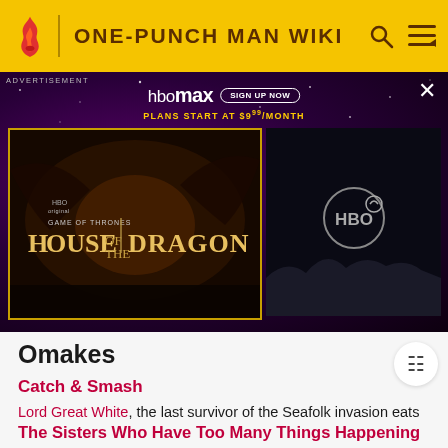ONE-PUNCH MAN WIKI
[Figure (screenshot): HBO Max advertisement banner showing House of the Dragon promotional image and HBO logo on dark purple starry background, with 'SIGN UP NOW' button and 'PLANS START AT $9.99/MONTH' text]
Omakes
Catch & Smash
Lord Great White, the last survivor of the Seafolk invasion eats the "King of the Lake". But afterward, Saitama quickly takes care of him.[4]
OVAs
The Sisters Who Have Too Many Things Happening